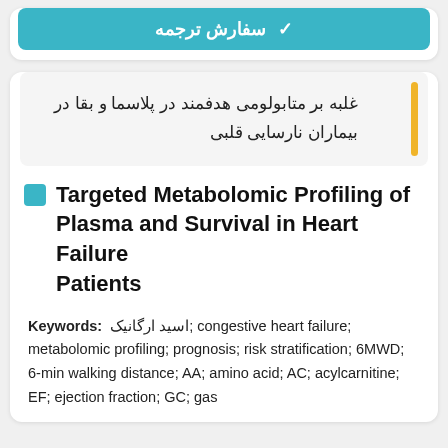[Figure (other): Teal button with Persian text 'سفارش ترجمه' (Order Translation) with a checkmark icon]
غلبه بر متابولومی هدفمند در پلاسما و بقا در بیماران نارسایی قلبی
Targeted Metabolomic Profiling of Plasma and Survival in Heart Failure Patients
Keywords: اسید ارگانیک; congestive heart failure; metabolomic profiling; prognosis; risk stratification; 6MWD; 6-min walking distance; AA; amino acid; AC; acylcarnitine; EF; ejection fraction; GC; gas